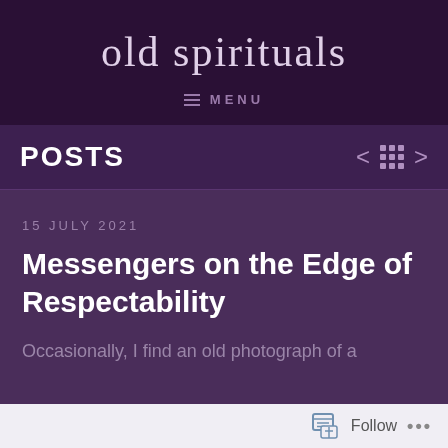old spirituals
MENU
POSTS
15 JULY 2021
Messengers on the Edge of Respectability
Occasionally, I find an old photograph of a
Follow ...